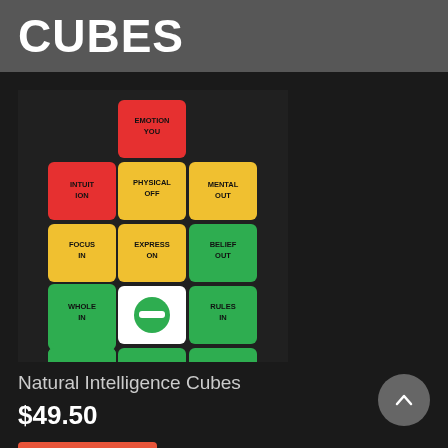CUBES
[Figure (photo): Photo of Natural Intelligence Cubes arranged in a cross/plus shape on a dark leather background. The cubes are colored red, yellow, and green with black text labels such as EMOTION YOU, INTUITION, PHYSICAL OFF, MENTAL OUT, FOCUS IN, EXPRESS ON, BELIEF OUT, WHOLE IN, minus symbol, RULES IN, DETAIL POTENT, MIRROR IN, ORDER POTENT, PRIOR VOID.]
Natural Intelligence Cubes
$49.50
Add to cart